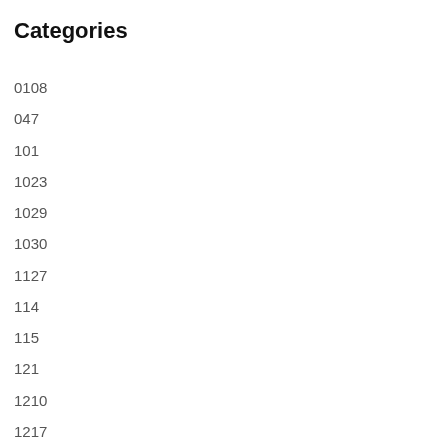Categories
0108
047
101
1023
1029
1030
1127
114
115
121
1210
1217
1218
122